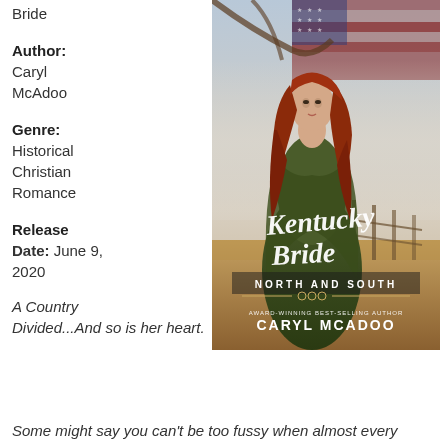Bride
Author:
Caryl McAdoo
Genre:
Historical Christian Romance
Release Date: June 9, 2020
[Figure (photo): Book cover for 'Kentucky Bride: North and South' by Caryl McAdoo. Shows a woman with long red hair in a green dress standing in a field, with an American flag in the background. Script text reads 'Kentucky Bride' and 'North and South'. Bottom text reads 'Award-Winning Best-Selling Author Caryl McAdoo'.]
A Country Divided...And so is her heart.
Some might say you can't be too fussy when almost every